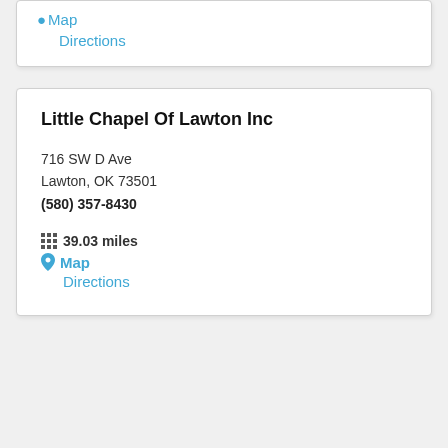Map
Directions
Little Chapel Of Lawton Inc
716 SW D Ave
Lawton, OK 73501
(580) 357-8430
39.03 miles
Map
Directions